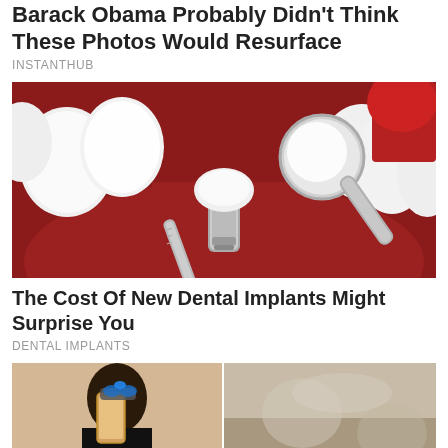Barack Obama Probably Didn't Think These Photos Would Resurface
INSTANTHUB
[Figure (photo): 3D illustration of dental implant between teeth with a dental mirror and instrument tool against a red background]
The Cost Of New Dental Implants Might Surprise You
DENTAL IMPLANTS
[Figure (photo): Two side-by-side photos: left shows a person taking a selfie with a phone and sunglasses with a blue butterfly decoration; right shows a blurred outdoor scene]